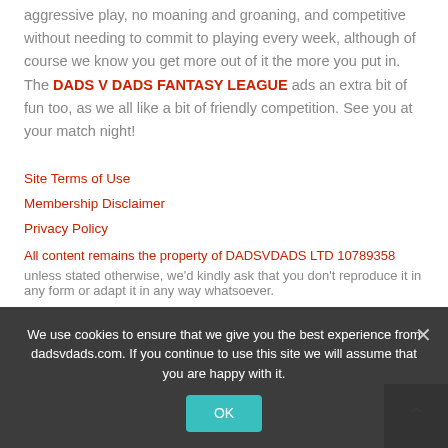aggressive play, no moaning and groaning, and competitive without needing to commit to playing every week, although of course we know you get more out of it the more you put in. The DADS V DADS FANTASY LEAGUE ads an extra bit of fun too, as we all like a bit of friendly competition. See you at your match night!
Site Terms of Use
Membership Disclaimer
Privacy Policy
All content remains the property of DADSVDADS LTD 10789358
unless stated otherwise, we'd kindly ask that you don't reproduce it in any form or adapt it in any way whatsoever.
We use cookies to ensure that we give you the best experience from dadsvdads.com. If you continue to use this site we will assume that you are happy with it.